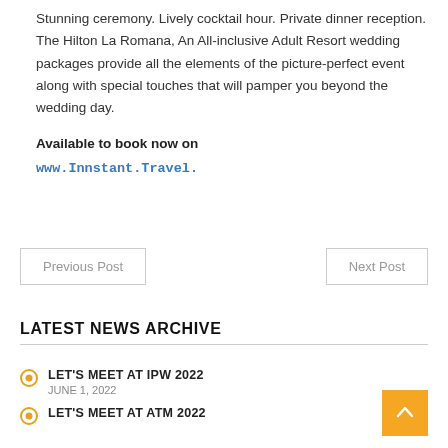Stunning ceremony. Lively cocktail hour. Private dinner reception. The Hilton La Romana, An All-inclusive Adult Resort wedding packages provide all the elements of the picture-perfect event along with special touches that will pamper you beyond the wedding day.

Available to book now on
www.Innstant.Travel.
Previous Post
Next Post
LATEST NEWS ARCHIVE
LET'S MEET AT IPW 2022
JUNE 1, 2022
LET'S MEET AT ATM 2022